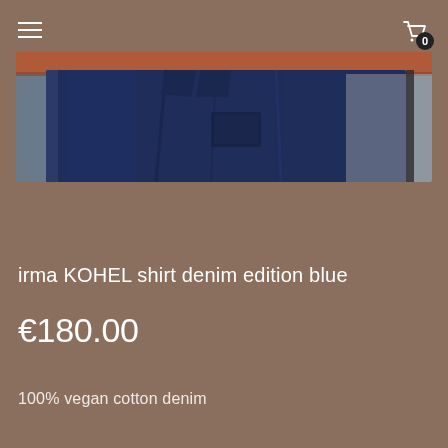≡  [cart icon] 0
[Figure (photo): A dark blue denim shirt hanging on a rack with a wooden shelf visible in the background, displayed in a store or studio setting.]
irma KOHEL shirt denim edition blue
€180.00
100% vegan cotton denim